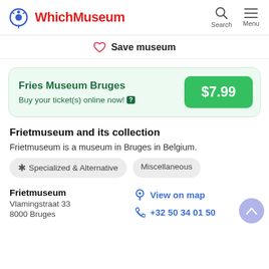WhichMuseum
Save museum
Fries Museum Bruges
Buy your ticket(s) online now! $7.99
Frietmuseum and its collection
Frietmuseum is a museum in Bruges in Belgium.
Specialized & Alternative
Miscellaneous
Frietmuseum
Vlamingstraat 33
8000 Bruges
View on map
+32 50 34 01 50